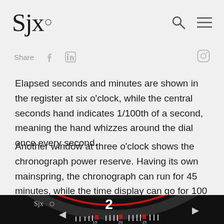SJx°
Share
Elapsed seconds and minutes are shown in the register at six o'clock, while the central seconds hand indicates 1/100th of a second, meaning the hand whizzes around the dial once every second.
Another window at three o'clock shows the chronograph power reserve. Having its own mainspring, the chronograph can run for 45 minutes, while the time display can go for 100 hours on full wind.
[Figure (photo): Close-up macro photo of a watch bezel and dial edge, showing a black bezel with red accent ring, white tick marks, red square markers at positions 15, 20, 25, and white numerals including '2' at top. SJX watermark visible on watch.]